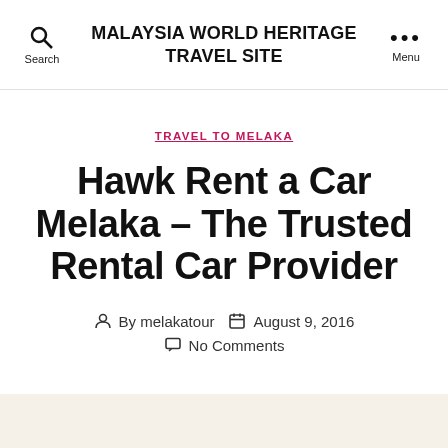MALAYSIA WORLD HERITAGE TRAVEL SITE
TRAVEL TO MELAKA
Hawk Rent a Car Melaka – The Trusted Rental Car Provider
By melakatour  August 9, 2016  No Comments